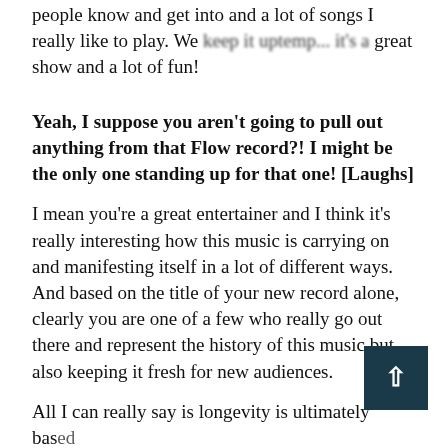people know and get into and a lot of songs I really like to play. We keep it uptemp... it's a great show and a lot of fun!
Yeah, I suppose you aren't going to pull out anything from that Flow record?! I might be the only one standing up for that one! [Laughs]
I mean you're a great entertainer and I think it's really interesting how this music is carrying on and manifesting itself in a lot of different ways. And based on the title of your new record alone, clearly you are one of a few who really go out there and represent the history of this music but also keeping it fresh for new audiences.
All I can really say is longevity is ultimately based on raw talent. And you need to have great songs in...